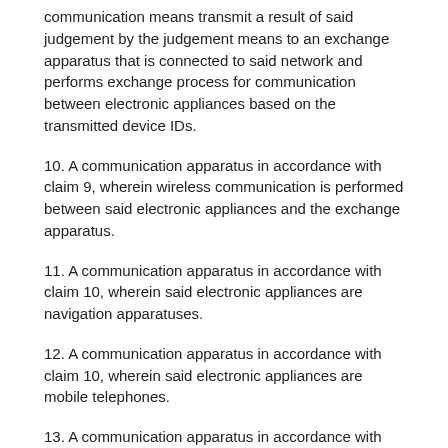communication means transmit a result of said judgement by the judgement means to an exchange apparatus that is connected to said network and performs exchange process for communication between electronic appliances based on the transmitted device IDs.
10. A communication apparatus in accordance with claim 9, wherein wireless communication is performed between said electronic appliances and the exchange apparatus.
11. A communication apparatus in accordance with claim 10, wherein said electronic appliances are navigation apparatuses.
12. A communication apparatus in accordance with claim 10, wherein said electronic appliances are mobile telephones.
13. A communication apparatus in accordance with claim 9, wherein each of said electronic appliances is connected to a specified communication means in said exchange apparatus, and when performing communication, each of said electronic appliances transmits said device ID to said communication apparatus, said exchange apparatus transmits a communication means ID for specifying said communication means to said communication apparatus, said communication apparatus authenticates said electronic appliance based on said group information, by referring to a